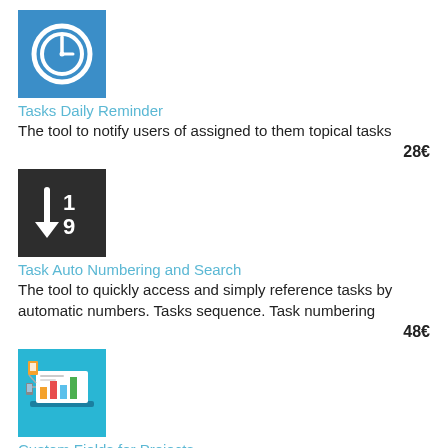[Figure (logo): Blue square icon with a white clock/time symbol]
Tasks Daily Reminder
The tool to notify users of assigned to them topical tasks
28€
[Figure (logo): Dark square icon with white arrow pointing down and numbers 1 and 9 (sort descending)]
Task Auto Numbering and Search
The tool to quickly access and simply reference tasks by automatic numbers. Tasks sequence. Task numbering
48€
[Figure (illustration): Light blue square icon showing a laptop with charts and connected devices]
Custom Fields for Projects
The tool to add new fields for Odoo projects without any technical knowledge